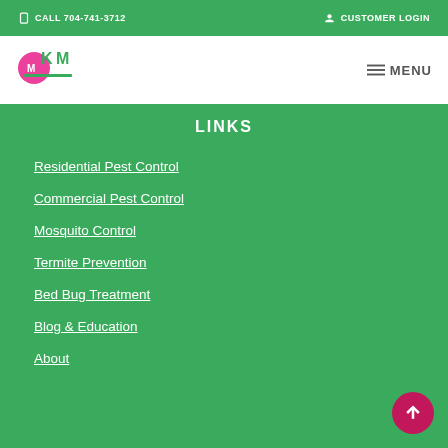CALL 704-741-3712   CUSTOMER LOGIN
[Figure (logo): Pest control company logo with pink and green colors]
LINKS
Residential Pest Control
Commercial Pest Control
Mosquito Control
Termite Prevention
Bed Bug Treatment
Blog & Education
About